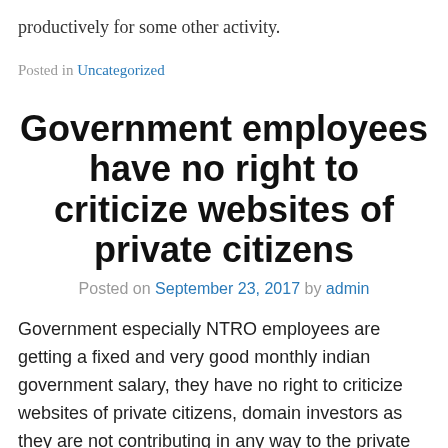productively for some other activity.
Posted in Uncategorized
Government employees have no right to criticize websites of private citizens
Posted on September 23, 2017 by admin
Government especially NTRO employees are getting a fixed and very good monthly indian government salary, they have no right to criticize websites of private citizens, domain investors as they are not contributing in any way to the private citizen, they do